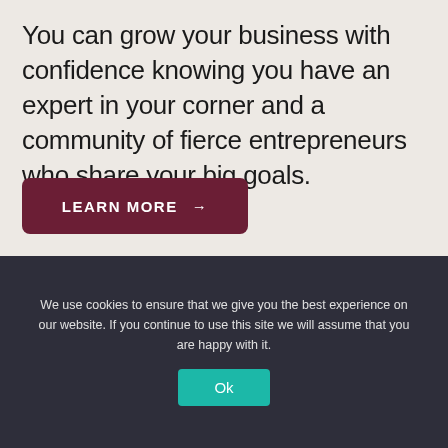You can grow your business with confidence knowing you have an expert in your corner and a community of fierce entrepreneurs who share your big goals.
LEARN MORE →
We use cookies to ensure that we give you the best experience on our website. If you continue to use this site we will assume that you are happy with it.
Ok